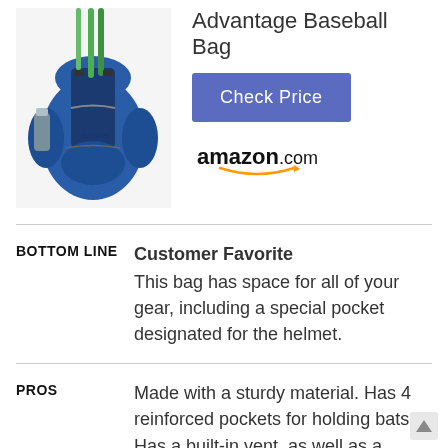[Figure (photo): Blue baseball backpack bag with bat holders and multiple pockets]
Advantage Baseball Bag
Check Price
[Figure (logo): amazon.com logo]
BOTTOM LINE
Customer Favorite
This bag has space for all of your gear, including a special pocket designated for the helmet.
PROS
Made with a sturdy material. Has 4 reinforced pockets for holding bats. Has a built-in vent, as well as a ventilated cleat compartment for minimizing odors. Other features include a fence hook, padded shoulder straps, and a